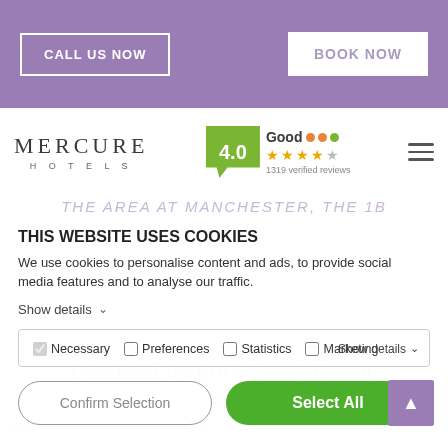CALL US NOW | BOOK NOW
MERCURE HOTELS
Good ★★★★☆ 1319 verified reviews
THIS WEBSITE USES COOKIES
We use cookies to personalise content and ads, to provide social media features and to analyse our traffic.
Show details ∨
☑ Necessary  ☐ Preferences  ☐ Statistics  ☐ Marketing
Show details ∨
Confirm Selection
Select All